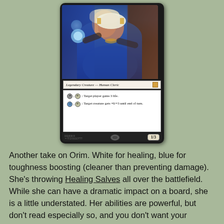[Figure (illustration): A Magic: The Gathering card showing a legendary creature — Human Cleric with power/toughness 1/3. The card features artwork of a woman in robes holding a glowing orb. Card abilities: '*, T: Target player gains 3 life.' and 'U, T: Target creature gets +0/+3 until end of turn.' Card number 003/008 R.]
Another take on Orim. White for healing, blue for toughness boosting (cleaner than preventing damage). She's throwing Healing Salves all over the battlefield. While she can have a dramatic impact on a board, she is a little understated. Her abilities are powerful, but don't read especially so, and you don't want your legends to be undervalued on their face. Also, as a primarily Red player, I feel like I have to hate her on principal. But that's a solid design, it just needs a little more oomph, especially for a major character.